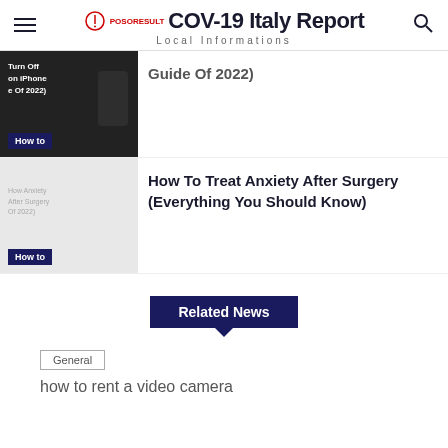COV-19 Italy Report — Local Informations
Guide Of 2022)
[Figure (photo): Dark thumbnail showing a phone with text 'Turn Off on iPhone e Of 2022)' and a 'How to' badge]
How To Treat Anxiety After Surgery (Everything You Should Know)
[Figure (photo): Light gray thumbnail with faint text overlay and a 'How to' badge]
Related News
General
how to rent a video camera